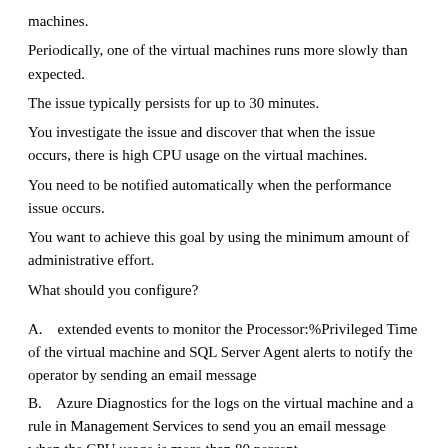machines.
Periodically, one of the virtual machines runs more slowly than expected.
The issue typically persists for up to 30 minutes.
You investigate the issue and discover that when the issue occurs, there is high CPU usage on the virtual machines.
You need to be notified automatically when the performance issue occurs.
You want to achieve this goal by using the minimum amount of administrative effort.
What should you configure?
A.    extended events to monitor the Processor:%Privileged Time of the virtual machine and SQL Server Agent alerts to notify the operator by sending an email message
B.    Azure Diagnostics for the logs on the virtual machine and a rule in Management Services to send you an email message when the CPU usage is more than 80 percent
C.    ...to monitor the Processor:%User Time of the...